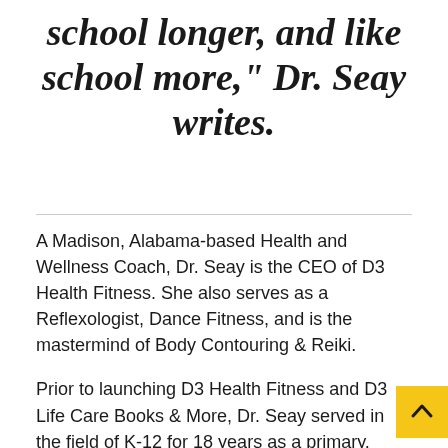school longer, and like school more," Dr. Seay writes.
A Madison, Alabama-based Health and Wellness Coach, Dr. Seay is the CEO of D3 Health Fitness. She also serves as a Reflexologist, Dance Fitness, and is the mastermind of Body Contouring & Reiki.
Prior to launching D3 Health Fitness and D3 Life Care Books & More, Dr. Seay served in the field of K-12 for 18 years as a primary, upper elementary and middle school